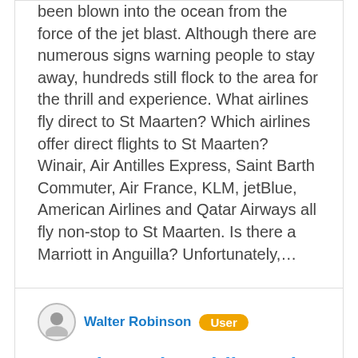been blown into the ocean from the force of the jet blast. Although there are numerous signs warning people to stay away, hundreds still flock to the area for the thrill and experience. What airlines fly direct to St Maarten? Which airlines offer direct flights to St Maarten? Winair, Air Antilles Express, Saint Barth Commuter, Air France, KLM, jetBlue, American Airlines and Qatar Airways all fly non-stop to St Maarten. Is there a Marriott in Anguilla? Unfortunately,…
Walter Robinson — User
Question: What Airlines Fly Direct To St Maarten?
Is Maho Beach dangerous? With winds from the airplanes reaching more than 100 mph, serious injury or even death is possible and